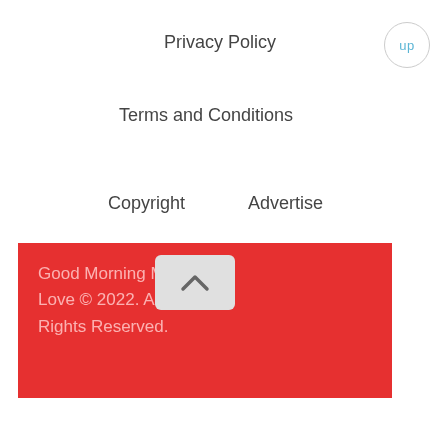Privacy Policy
up
Terms and Conditions
Copyright
Advertise
Good Morning My Love © 2022. All Rights Reserved.
[Figure (other): Scroll-to-top button with upward chevron icon on light gray background]